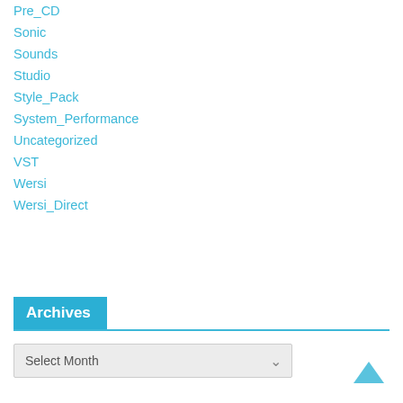Pre_CD
Sonic
Sounds
Studio
Style_Pack
System_Performance
Uncategorized
VST
Wersi
Wersi_Direct
Archives
Select Month